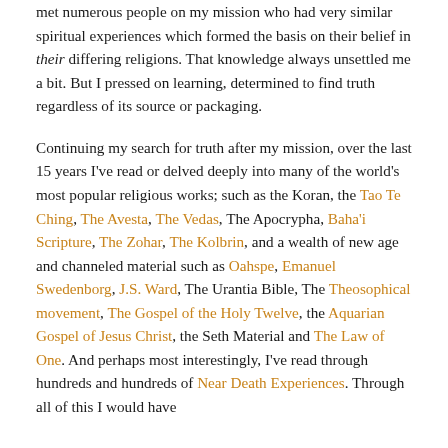met numerous people on my mission who had very similar spiritual experiences which formed the basis on their belief in their differing religions. That knowledge always unsettled me a bit. But I pressed on learning, determined to find truth regardless of its source or packaging.
Continuing my search for truth after my mission, over the last 15 years I've read or delved deeply into many of the world's most popular religious works; such as the Koran, the Tao Te Ching, The Avesta, The Vedas, The Apocrypha, Baha'i Scripture, The Zohar, The Kolbrin, and a wealth of new age and channeled material such as Oahspe, Emanuel Swedenborg, J.S. Ward, The Urantia Bible, The Theosophical movement, The Gospel of the Holy Twelve, the Aquarian Gospel of Jesus Christ, the Seth Material and The Law of One. And perhaps most interestingly, I've read through hundreds and hundreds of Near Death Experiences. Through all of this I would have